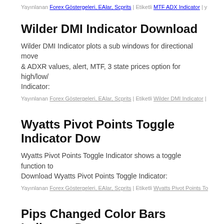Yayınlanan Forex Göstergeleri, EAlar, Scprits | Etiketli MTF ADX Indicator | y
Wilder DMI Indicator Download
Wilder DMI Indicator plots a sub windows for directional move & ADXR values, alert, MTF, 3 state prices option for high/low/... Indicator:
Yayınlanan Forex Göstergeleri, EAlar, Scprits | Etiketli Wilder DMI Indicator |
Wyatts Pivot Points Toggle Indicator Download
Wyatts Pivot Points Toggle Indicator shows a toggle function to... Download Wyatts Pivot Points Toggle Indicator:
Yayınlanan Forex Göstergeleri, EAlar, Scprits | Etiketli Wyatts Pivot Points To
Pips Changed Color Bars Indicator Download